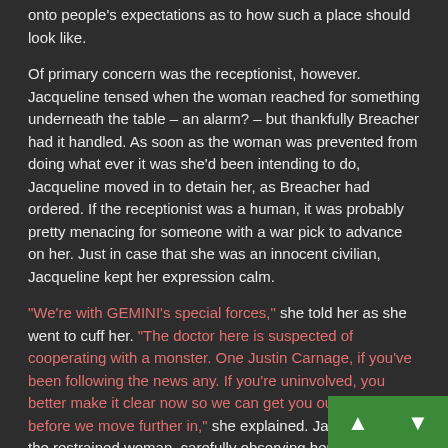onto people's expectations as to how such a place should look like.
Of primary concern was the receptionist, however. Jacqueline tensed when the woman reached for something underneath the table – an alarm? – but thankfully Breacher had it handled. As soon as the woman was prevented from doing what ever it was she'd been intending to do, Jacqueline moved in to detain her, as Breacher had ordered. If the receptionist was a human, it was probably pretty menacing for someone with a war pick to advance on her. Just in case that she was an innocent civilian, Jacqueline kept her expression calm.
“We're with GEMINI's special forces,” she told her as she went to cuff her. “The doctor here is suspected of cooperating with a monster. One Justin Carnage, if you've been following the news any. If you're uninvolved, you better make it clear now so we can get you out to safety before we move further in,” she explained. Jacqueline held the restrained woman, carefully observing her. Depending on what she said or did, she had to be ready to attack or defend; as Breacher had said, there was the possibility that this was a thrall.